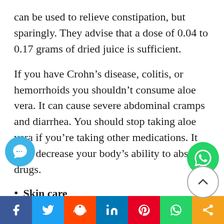can be used to relieve constipation, but sparingly. They advise that a dose of 0.04 to 0.17 grams of dried juice is sufficient.
If you have Crohn’s disease, colitis, or hemorrhoids you shouldn’t consume aloe vera. It can cause severe abdominal cramps and diarrhea. You should stop taking aloe vera if you’re taking other medications. It may decrease your body’s ability to absorb drugs.
Skin care